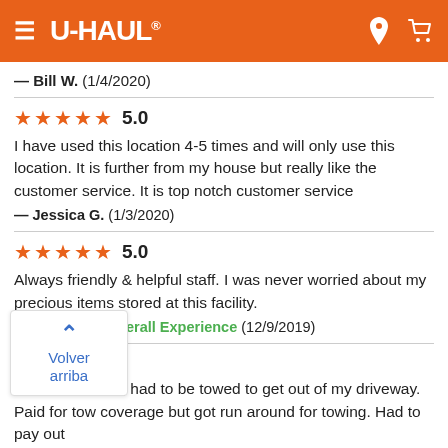U-HAUL
— Bill W.  (1/4/2020)
★★★★★ 5.0
I have used this location 4-5 times and will only use this location. It is further from my house but really like the customer service. It is top notch customer service
— Jessica G.  (1/3/2020)
★★★★★ 5.0
Always friendly & helpful staff. I was never worried about my precious items stored at this facility.
— JAMIE A.  | Overall Experience  (12/9/2019)
Volver arriba
★ 1.0
[partial] s on Rental van, had to be towed to get out of my driveway.
Paid for tow coverage but got run around for towing. Had to pay out